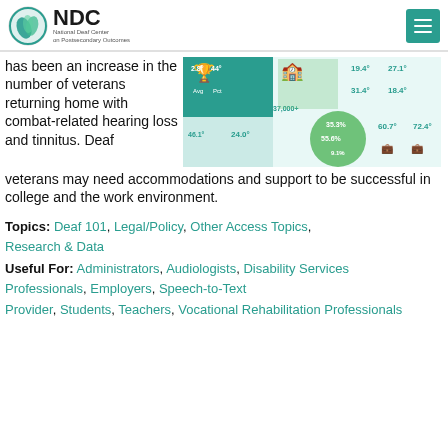NDC National Deaf Center on Postsecondary Outcomes
has been an increase in the number of veterans returning home with combat-related hearing loss and tinnitus. Deaf veterans may need accommodations and support to be successful in college and the work environment.
[Figure (infographic): Infographic showing statistics about deaf veterans and postsecondary outcomes, including numbers like 37,000+, 24.0%, 35.3%, 55.6%, 9.1%, 19.4%, 27.1%, 31.4%, 18.4%, 60.7%, 72.4%]
Topics: Deaf 101, Legal/Policy, Other Access Topics, Research & Data
Useful For: Administrators, Audiologists, Disability Services Professionals, Employers, Speech-to-Text Provider, Students, Teachers, Vocational Rehabilitation Professionals